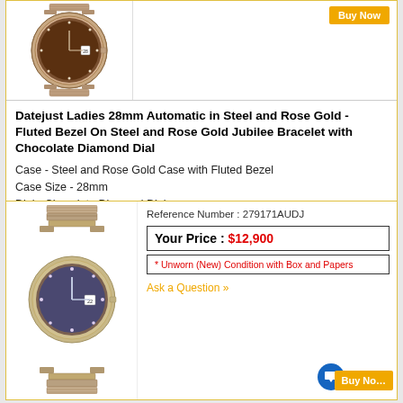[Figure (photo): Rolex Datejust Ladies 28mm watch with chocolate diamond dial, steel and rose gold fluted bezel, Jubilee bracelet - top card image]
Datejust Ladies 28mm Automatic in Steel and Rose Gold - Fluted Bezel On Steel and Rose Gold Jubilee Bracelet with Chocolate Diamond Dial
Case - Steel and Rose Gold Case with Fluted Bezel
Case Size - 28mm
Dial - Chocolate Diamond Dial
Movement - Automatic
Bracelet - Steel and Rose Gold Jubilee Bracelet
Item ID - 69973
Retail Price - $12,450
[Figure (photo): Rolex Datejust Ladies 28mm watch with blue/purple diamond dial, steel and rose gold, Jubilee bracelet - bottom card image]
Reference Number : 279171AUDJ
Your Price : $12,900
* Unworn (New) Condition with Box and Papers
Ask a Question »